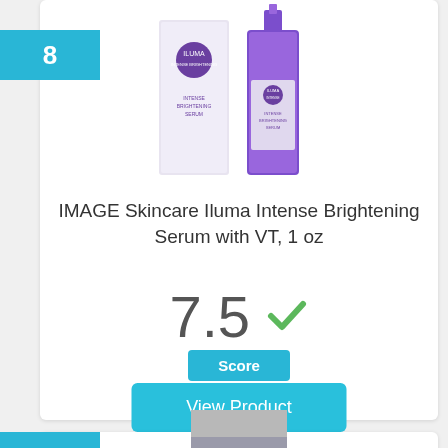8
[Figure (photo): IMAGE Skincare Iluma Intense Brightening Serum product box and bottle with purple cap]
IMAGE Skincare Iluma Intense Brightening Serum with VT, 1 oz
7.5
Score
View Product
9
[Figure (photo): Skincare cream jar product with gray lid and purple base, partially visible]